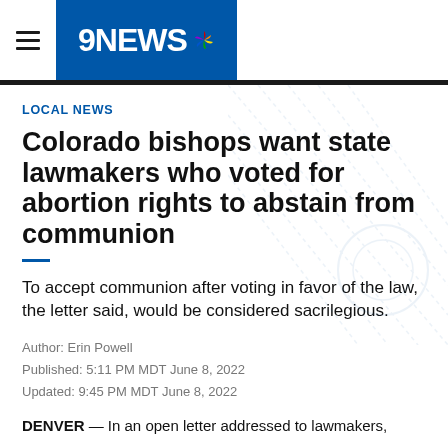[Figure (logo): 9NEWS NBC logo with hamburger menu icon on white/blue header bar]
LOCAL NEWS
Colorado bishops want state lawmakers who voted for abortion rights to abstain from communion
To accept communion after voting in favor of the law, the letter said, would be considered sacrilegious.
Author: Erin Powell
Published: 5:11 PM MDT June 8, 2022
Updated: 9:45 PM MDT June 8, 2022
DENVER — In an open letter addressed to lawmakers,